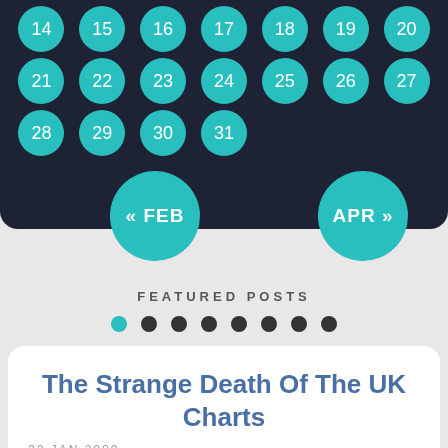[Figure (other): Calendar widget showing dates 14-31 with teal circular day buttons on dark navy background, with FEB and APR navigation buttons]
FEATURED POSTS
[Figure (other): Pagination dots row with 8 dots, first dot teal/active, rest dark grey]
The Strange Death Of The UK Charts
22 JAN 2009